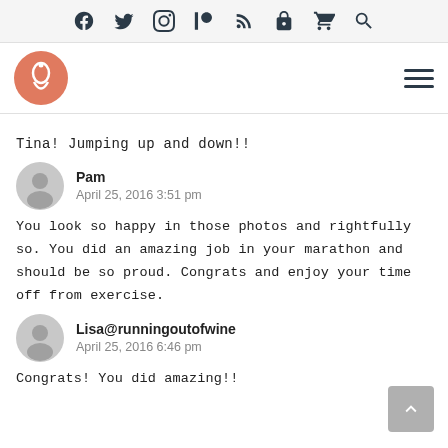Social media icons and site navigation header
Tina! Jumping up and down!!
Pam
April 25, 2016 3:51 pm
You look so happy in those photos and rightfully so. You did an amazing job in your marathon and should be so proud. Congrats and enjoy your time off from exercise.
Lisa@runningoutofwine
April 25, 2016 6:46 pm
Congrats! You did amazing!!